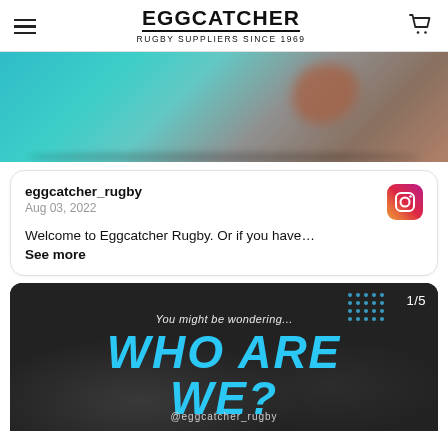EGGCATCHER RUGBY SUPPLIERS SINCE 1969
[Figure (photo): Close-up blurry photo of a rugby ball or player's hand against a teal/turquoise background, seen at the top of the page]
eggcatcher_rugby
Aug 03, 2022

Welcome to Eggcatcher Rugby. Or if you have…
See more
[Figure (screenshot): Social media carousel slide with dark crowd background. Text reads: 'You might be wondering... WHO ARE WE?' with '@eggcatcher_rugby' handle at bottom. Slide counter shows 1/5 with dot pattern in top right.]